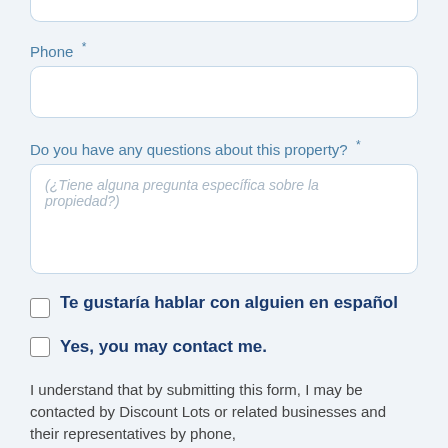[Figure (other): Top of a white rounded input box (truncated at top of page)]
Phone *
[Figure (other): Empty white rounded input box for Phone field]
Do you have any questions about this property? *
[Figure (other): White rounded textarea with placeholder text: (¿Tiene alguna pregunta específica sobre la propiedad?)]
Te gustaría hablar con alguien en español
Yes, you may contact me.
I understand that by submitting this form, I may be contacted by Discount Lots or related businesses and their representatives by phone,